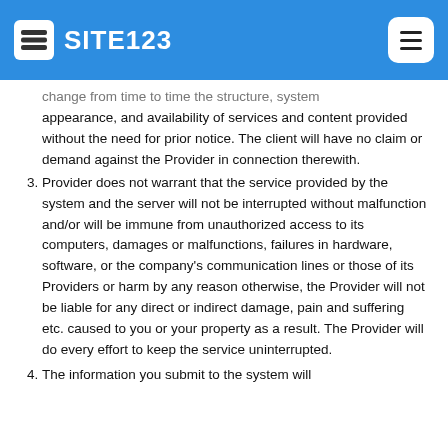SITE123
change from time to time the structure, system appearance, and availability of services and content provided without the need for prior notice. The client will have no claim or demand against the Provider in connection therewith.
3. Provider does not warrant that the service provided by the system and the server will not be interrupted without malfunction and/or will be immune from unauthorized access to its computers, damages or malfunctions, failures in hardware, software, or the company's communication lines or those of its Providers or harm by any reason otherwise, the Provider will not be liable for any direct or indirect damage, pain and suffering etc. caused to you or your property as a result. The Provider will do every effort to keep the service uninterrupted.
4. The information you submit to the system will